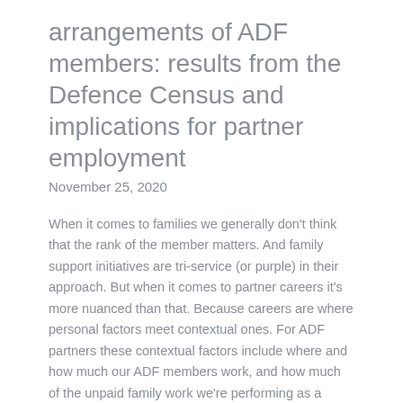arrangements of ADF members: results from the Defence Census and implications for partner employment
November 25, 2020
When it comes to families we generally don't think that the rank of the member matters. And family support initiatives are tri-service (or purple) in their approach. But when it comes to partner careers it's more nuanced than that. Because careers are where personal factors meet contextual ones. For ADF partners these contextual factors include where and how much our ADF members work, and how much of the unpaid family work we're performing as a result. So it's with interest that I look at the data from the 2019 Defence Census to find out how